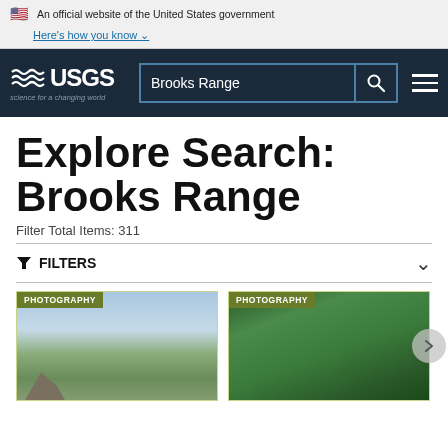An official website of the United States government Here's how you know
[Figure (screenshot): USGS navigation bar with logo, search bar containing 'Brooks Range', and hamburger menu]
Explore Search: Brooks Range
Filter Total Items: 311
FILTERS
[Figure (photo): Photography card showing aerial mountain landscape with sky and green valleys]
[Figure (photo): Photography card showing green underwater or surface water texture]